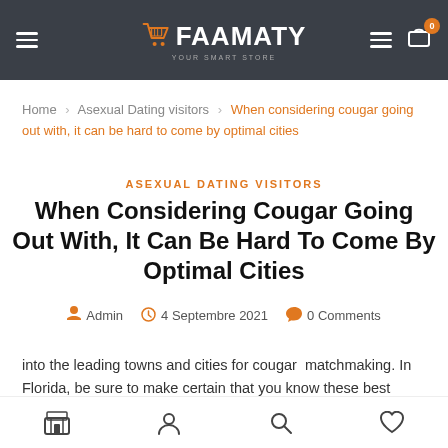FAAMATY — Your Smart Store
Home > Asexual Dating visitors > When considering cougar going out with, it can be hard to come by optimal cities
ASEXUAL DATING VISITORS
When Considering Cougar Going Out With, It Can Be Hard To Come By Optimal Cities
Admin  4 Septembre 2021  0 Comments
into the leading towns and cities for cougar  matchmaking. In Florida, be sure to make certain that you know these best